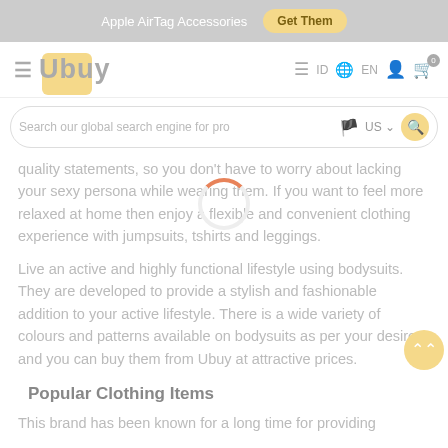Apple AirTag Accessories  Get Them
[Figure (screenshot): Ubuy e-commerce website navigation bar with logo, hamburger menu, ID language selector, EN globe, user icon, and cart icon with badge 0]
[Figure (screenshot): Search bar with placeholder 'Search our global search engine for pro', US flag, US dropdown, and yellow search button]
quality statements, so you don't have to worry about lacking your sexy persona while wearing them. If you want to feel more relaxed at home then enjoy a flexible and convenient clothing experience with jumpsuits, tshirts and leggings.
Live an active and highly functional lifestyle using bodysuits. They are developed to provide a stylish and fashionable addition to your active lifestyle. There is a wide variety of colours and patterns available on bodysuits as per your desire and you can buy them from Ubuy at attractive prices.
Popular Clothing Items
This brand has been known for a long time for providing